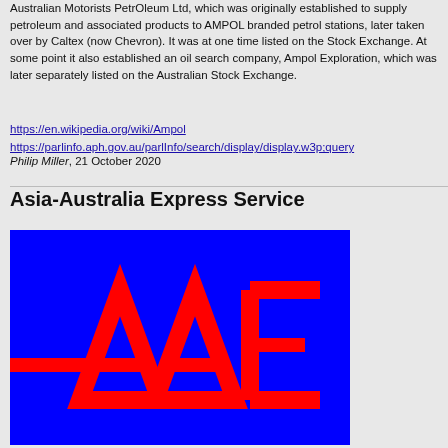Australian Motorists PetrOleum Ltd, which was originally established to supply petroleum and associated products to AMPOL branded petrol stations, later taken over by Caltex (now Chevron). It was at one time listed on the Stock Exchange. At some point it also established an oil search company, Ampol Exploration, which was later separately listed on the Australian Stock Exchange.
https://en.wikipedia.org/wiki/Ampol
https://parlinfo.aph.gov.au/parlInfo/search/display/display.w3p;query
Philip Miller, 21 October 2020
Asia-Australia Express Service
[Figure (logo): Blue background with red stylized AAE letters logo for Asia-Australia Express Service]